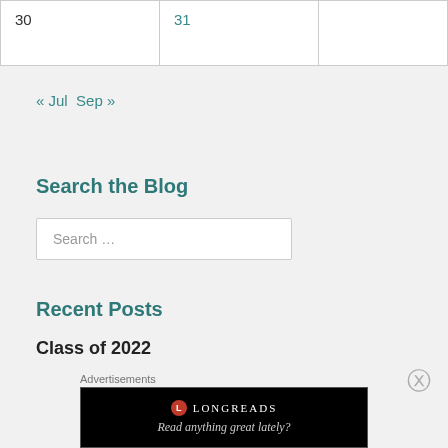| 30 | 31 |  |
« Jul  Sep »
Search the Blog
Search …
Recent Posts
Class of 2022
May (Please Don't Say the Rest)
Advertisements
[Figure (other): Longreads advertisement banner with logo and tagline 'Read anything great lately?']